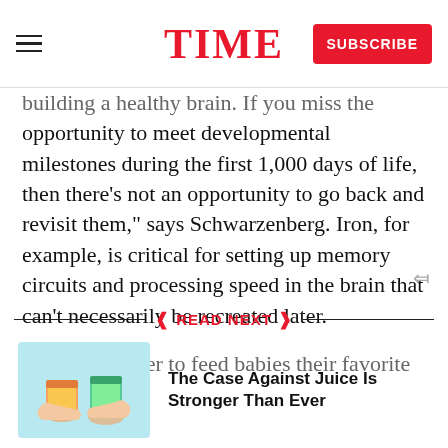TIME | SUBSCRIBE
building a healthy brain. If you miss the opportunity to meet developmental milestones during the first 1,000 days of life, then there’s not an opportunity to go back and revisit them,” says Schwarzenberg. Iron, for example, is critical for setting up memory circuits and processing speed in the brain that can’t necessarily be recreated later.

While it’s easier to feed babies their favorite foods
READ NEXT
[Figure (photo): Two hands holding orange and green juice cups against a light blue background]
The Case Against Juice Is Stronger Than Ever